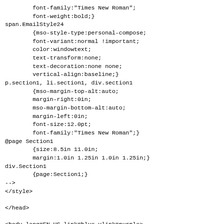font-family:"Times New Roman";
        font-weight:bold;}
span.EmailStyle24
        {mso-style-type:personal-compose;
        font-variant:normal !important;
        color:windowtext;
        text-transform:none;
        text-decoration:none none;
        vertical-align:baseline;}
p.section1, li.section1, div.section1
        {mso-margin-top-alt:auto;
        margin-right:0in;
        mso-margin-bottom-alt:auto;
        margin-left:0in;
        font-size:12.0pt;
        font-family:"Times New Roman";}
@page Section1
        {size:8.5in 11.0in;
        margin:1.0in 1.25in 1.0in 1.25in;}
div.Section1
        {page:Section1;}
-->
</style>

</head>

<body lang=EN-US link=blue vlink=purple>

<div class=Section1>